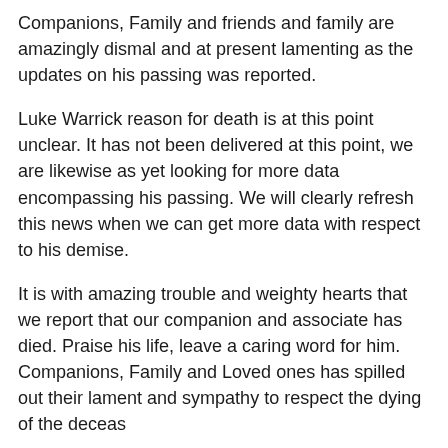Companions, Family and friends and family are amazingly dismal and at present lamenting as the updates on his passing was reported.
Luke Warrick reason for death is at this point unclear. It has not been delivered at this point, we are likewise as yet looking for more data encompassing his passing. We will clearly refresh this news when we can get more data with respect to his demise.
It is with amazing trouble and weighty hearts that we report that our companion and associate has died. Praise his life, leave a caring word for him. Companions, Family and Loved ones has spilled out their lament and sympathy to respect the dying of the deceas
INTERESTING FOR YOU
[Figure (photo): Photo of two elderly men, one with white/grey hair bowing his head, wearing a dark suit, the other in a white shirt with a blue tie, in an outdoor setting with greenery in background.]